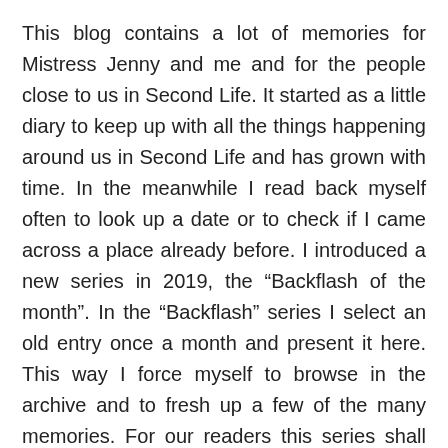This blog contains a lot of memories for Mistress Jenny and me and for the people close to us in Second Life. It started as a little diary to keep up with all the things happening around us in Second Life and has grown with time. In the meanwhile I read back myself often to look up a date or to check if I came across a place already before. I introduced a new series in 2019, the “Backflash of the month”. In the “Backflash” series I select an old entry once a month and present it here. This way I force myself to browse in the archive and to fresh up a few of the many memories. For our readers this series shall provide an insight into our Second Life without reading back the many posts and it might also give reason to browse through the archives.
In my diary entries you could follow how my submission to